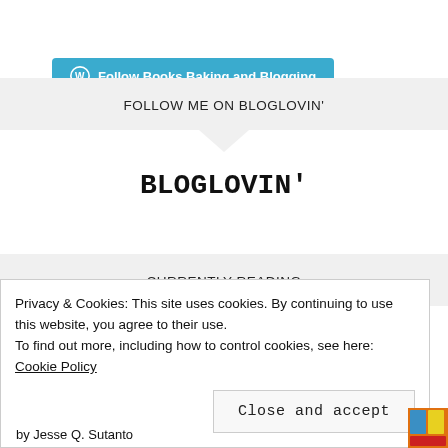[Figure (other): Teal/cyan rounded button with WordPress logo icon and text 'Follow Books Baking and Blogging']
FOLLOW ME ON BLOGLOVIN'
BLOGLOVIN'
CURRENTLY READING
Privacy & Cookies: This site uses cookies. By continuing to use this website, you agree to their use.
To find out more, including how to control cookies, see here: Cookie Policy
Close and accept
by Jesse Q. Sutanto